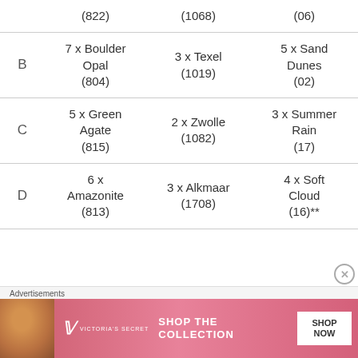|  | Col1 | Col2 | Col3 |
| --- | --- | --- | --- |
|  | (822) | (1068) | (06) |
| B | 7 x Boulder Opal (804) | 3 x Texel (1019) | 5 x Sand Dunes (02) |
| C | 5 x Green Agate (815) | 2 x Zwolle (1082) | 3 x Summer Rain (17) |
| D | 6 x Amazonite (813) | 3 x Alkmaar (1708) | 4 x Soft Cloud (16)** |
[Figure (other): Victoria's Secret advertisement banner: 'SHOP THE COLLECTION' with SHOP NOW button]